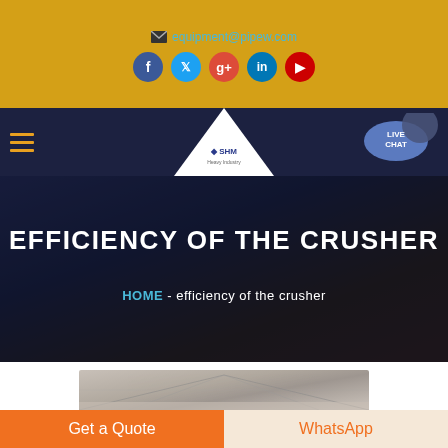equipment@pipew.com
[Figure (screenshot): Social media icons row: Facebook (blue circle), Twitter (light blue circle), Google+ (red circle), LinkedIn (dark blue circle), YouTube (red circle)]
[Figure (screenshot): Navigation bar with hamburger menu on left, SHM logo triangle in center, Live Chat bubble on right]
EFFICIENCY OF THE CRUSHER
HOME  -  efficiency of the crusher
[Figure (photo): Partial view of industrial warehouse or factory interior with structural steel roof trusses]
Get a Quote
WhatsApp